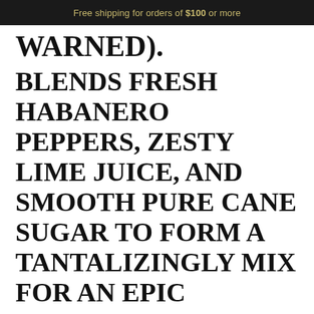Free shipping for orders of $100 or more
WARNED).
BLENDS FRESH HABANERO PEPPERS, ZESTY LIME JUICE, AND SMOOTH PURE CANE SUGAR TO FORM A TANTALIZINGLY MIX FOR AN EPIC MARGARITA. SIMPLY ADD YOUR TEQUILA OR MEZCAL OF CHOICE.